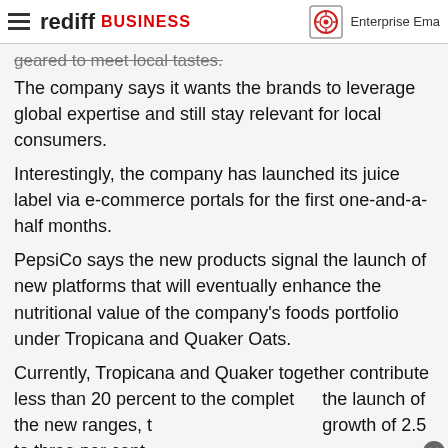rediff BUSINESS | Enterprise Ema...
geared to meet local tastes.
The company says it wants the brands to leverage global expertise and still stay relevant for local consumers.
Interestingly, the company has launched its juice label via e-commerce portals for the first one-and-a-half months.
PepsiCo says the new products signal the launch of new platforms that will eventually enhance the nutritional value of the company's foods portfolio under Tropicana and Quaker Oats.
Currently, Tropicana and Quaker together contribute less than 20 percent to the complet... the launch of the new ranges, t... growth of 2.5 to three per cent...
“We call these platforms becau... launching a few products but, going further, there will be many more products under these two. We hope to make this a substantial business for PepsiCo in the next three
[Figure (screenshot): Video overlay showing fire/flames scene with dark news ticker bar at bottom, partially obscuring article text. Close button (x) in top right corner.]